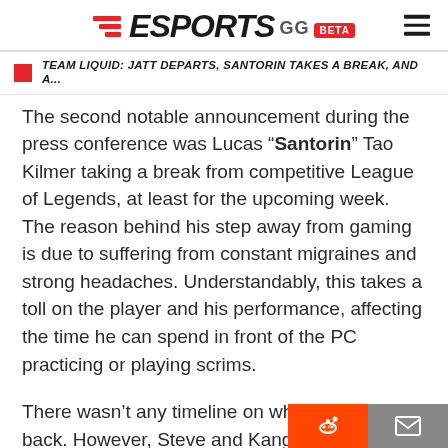ESPORTS GG BETA
TEAM LIQUID: JATT DEPARTS, SANTORIN TAKES A BREAK, AND A...
The second notable announcement during the press conference was Lucas “Santorin” Tao Kilmer taking a break from competitive League of Legends, at least for the upcoming week. The reason behind his step away from gaming is due to suffering from constant migraines and strong headaches. Understandably, this takes a toll on the player and his performance, affecting the time he can spend in front of the PC practicing or playing scrims.
There wasn’t any timeline on when he will be back. However, Steve and Kang made sure to clarify Santorin’s health